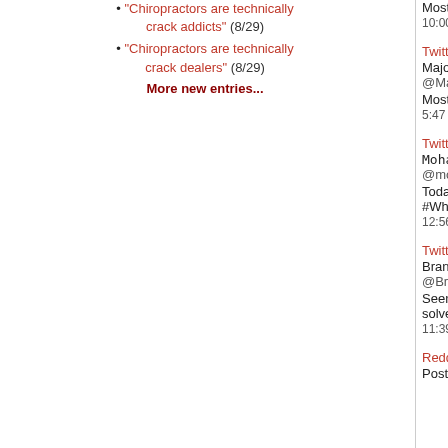"Chiropractors are technically crack addicts" (8/29)
"Chiropractors are technically crack dealers" (8/29)
More new entries...
Most problems can be solved with whiskey or nudity
10:00 PM · Feb 7, 2017·Twitter for iPhone
Twitter
Majorboobage
@Majorboobage
Most of my problems can be resolved by whiskey
5:47 AM · Feb 8, 2017·Twitter for iPhone
Twitter
Mohamed Firaz
@mohamedfiraz
Today We attempt to solve problems with Whisky
#Whisky
12:56 AM · Nov 3, 2017 from Maldives·Twitter for i
Twitter
Brandon
@BrandonLong6877
Seen a sign at a bar. I'm gonna start following it lo solved with whisky or nudity or both. Now that's my
11:39 PM · Aug 14, 2018·Twitter for iPhone
Reddit—Master_Baiter
Posted by u/Master2Caryn April 13, 2019